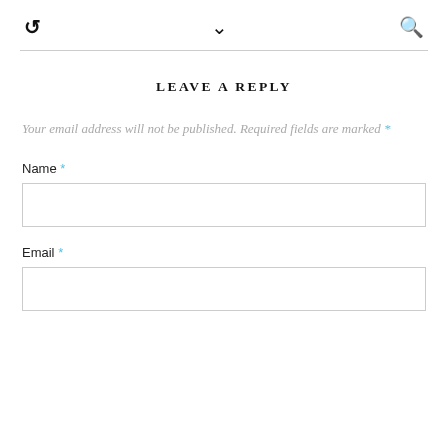↺ ∨ 🔍
LEAVE A REPLY
Your email address will not be published. Required fields are marked *
Name *
Email *